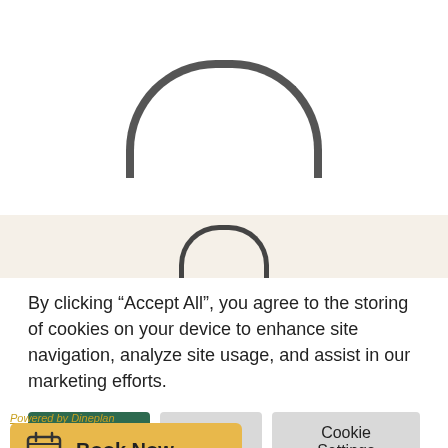[Figure (illustration): Loading spinner arc (large, dark gray, top half of circle) on white background]
[Figure (illustration): Loading spinner arc (small, dark gray, top half of circle) on cream/beige background]
By clicking “Accept All”, you agree to the storing of cookies on your device to enhance site navigation, analyze site usage, and assist in our marketing efforts.
Accept All
Reject All
Cookie Settings
Powered by Dineplan
Book Now